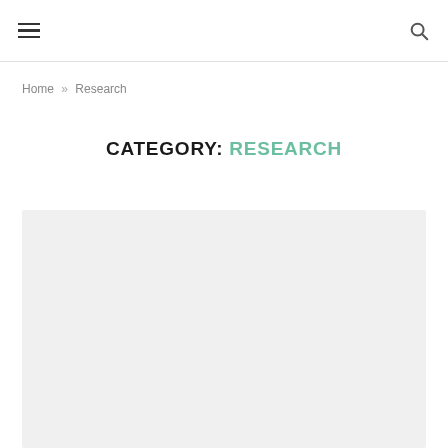≡  🔍
Home » Research
CATEGORY: RESEARCH
[Figure (other): Light gray placeholder image block filling the lower portion of the page]